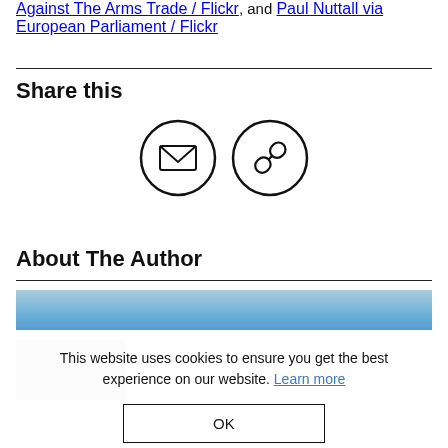Against The Arms Trade / Flickr, and Paul Nuttall via European Parliament / Flickr
Share this
[Figure (other): Two circular icon buttons: an email/envelope icon and a chain/link icon]
About The Author
[Figure (photo): A photo strip showing a building or pier structure against a blue sky]
This website uses cookies to ensure you get the best experience on our website. Learn more
OK